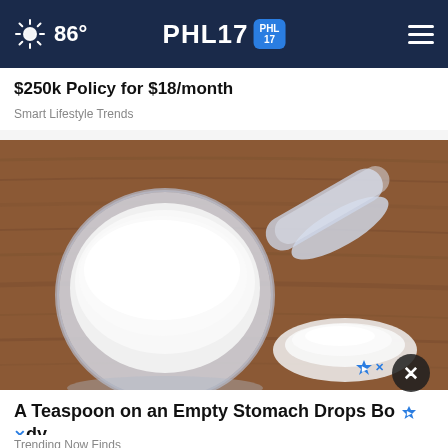86° PHL17
$250k Policy for $18/month
Smart Lifestyle Trends
[Figure (photo): A plastic measuring scoop filled with white powder, placed on a wooden surface with a small pile of white powder beside it.]
A Teaspoon on an Empty Stomach Drops Body Weight Like Crazy!
Trending Now Finds